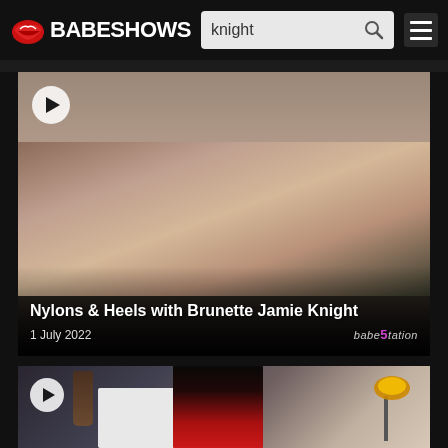BABESHOWS — search: knight
[Figure (screenshot): Video thumbnail showing a brunette woman lying on a dark surface, with a play button icon in the top-left corner. Title overlay reads 'Nylons & Heels with Brunette Jamie Knight', date '1 July 2022', and Babestation logo in bottom-right.]
Nylons & Heels with Brunette Jamie Knight
1 July 2022
[Figure (screenshot): Second video thumbnail showing a dark-haired woman in a red outfit standing in a room with shelving and studio lighting, with a play button icon in the top-left corner.]